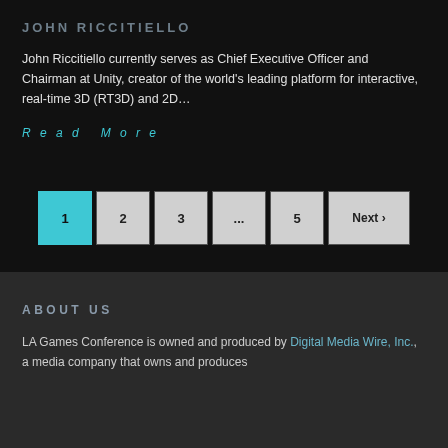JOHN RICCITIELLO
John Riccitiello currently serves as Chief Executive Officer and Chairman at Unity, creator of the world's leading platform for interactive, real-time 3D (RT3D) and 2D…
Read More
[Figure (other): Pagination navigation showing pages 1 (active/highlighted in cyan), 2, 3, …, 5, Next ›]
ABOUT US
LA Games Conference is owned and produced by Digital Media Wire, Inc., a media company that owns and produces